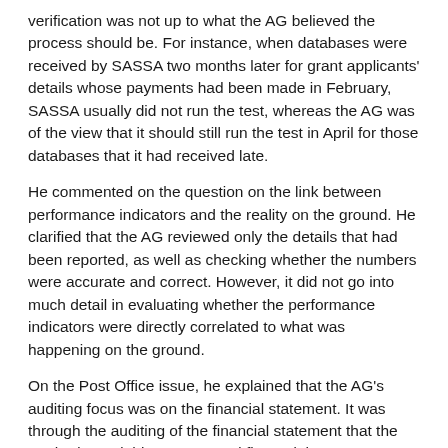verification was not up to what the AG believed the process should be. For instance, when databases were received by SASSA two months later for grant applicants' details whose payments had been made in February, SASSA usually did not run the test, whereas the AG was of the view that it should still run the test in April for those databases that it had received late.
He commented on the question on the link between performance indicators and the reality on the ground. He clarified that the AG reviewed only the details that had been reported, as well as checking whether the numbers were accurate and correct. However, it did not go into much detail in evaluating whether the performance indicators were directly correlated to what was happening on the ground.
On the Post Office issue, he explained that the AG's auditing focus was on the financial statement. It was through the auditing of the financial statement that the AG had noted this concern and flagged that payments had been made to ineligible individuals, and had asked the post office what measures were in place to prevent this from happening. The AG's Office had also enquired about the post office's processes for recovering the money that had been paid to ineligible individuals by error. The AG was working with SAPO's auditors to address this issue